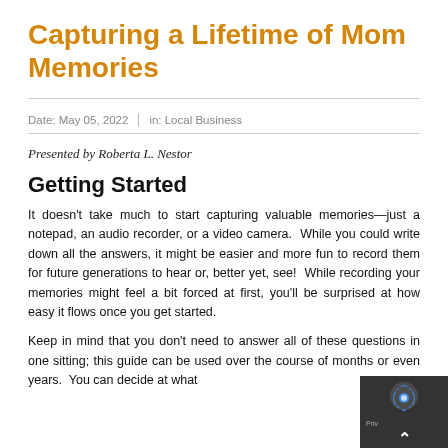Capturing a Lifetime of Mom Memories
Date: May 05, 2022 | in: Local Business
Presented by Roberta L. Nestor
Getting Started
It doesn't take much to start capturing valuable memories—just a notepad, an audio recorder, or a video camera.  While you could write down all the answers, it might be easier and more fun to record them for future generations to hear or, better yet, see!  While recording your memories might feel a bit forced at first, you'll be surprised at how easy it flows once you get started.
Keep in mind that you don't need to answer all of these questions in one sitting; this guide can be used over the course of months or even years.  You can decide at what